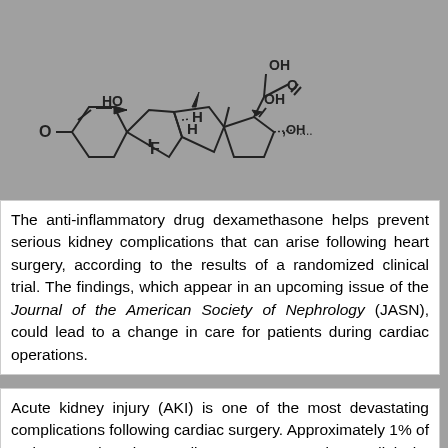[Figure (schematic): Chemical structure diagram of dexamethasone, showing the steroid ring system with HO, OH, O, F, and H substituents labeled on the polycyclic structure.]
The anti-inflammatory drug dexamethasone helps prevent serious kidney complications that can arise following heart surgery, according to the results of a randomized clinical trial. The findings, which appear in an upcoming issue of the Journal of the American Society of Nephrology (JASN), could lead to a change in care for patients during cardiac operations.
Acute kidney injury (AKI) is one of the most devastating complications following cardiac surgery. Approximately 1% of patients undergoing cardiac surgery experience dialysis-dependent...